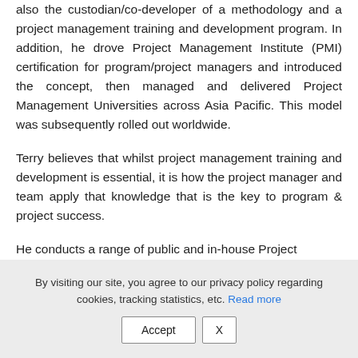also the custodian/co-developer of a methodology and a project management training and development program. In addition, he drove Project Management Institute (PMI) certification for program/project managers and introduced the concept, then managed and delivered Project Management Universities across Asia Pacific. This model was subsequently rolled out worldwide.
Terry believes that whilst project management training and development is essential, it is how the project manager and team apply that knowledge that is the key to program & project success.
He conducts a range of public and in-house Project
By visiting our site, you agree to our privacy policy regarding cookies, tracking statistics, etc. Read more